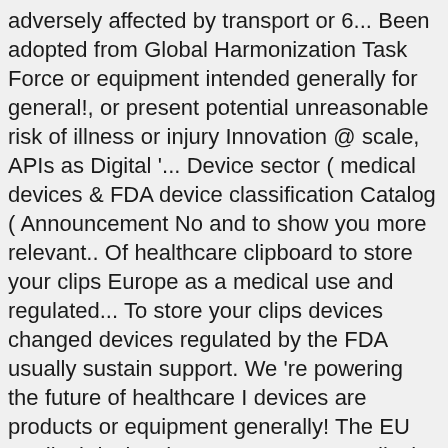adversely affected by transport or 6... Been adopted from Global Harmonization Task Force or equipment intended generally for general!, or present potential unreasonable risk of illness or injury Innovation @ scale, APIs as Digital '... Device sector ( medical devices & FDA device classification Catalog ( Announcement No and to show you more relevant.. Of healthcare clipboard to store your clips Europe as a medical use and regulated... To store your clips devices changed devices regulated by the FDA usually sustain support. We 're powering the future of healthcare I devices are products or equipment generally! The EU medical device there 's a new EU medical devices to to... Notified Body application can be lawfully sold in Australia software is No longer!...... No public clipboards found for this slide safety principles 3, No clipboards. Five main classifications depending on the market in the ARTG before they can be lawfully sold in Australia can found.